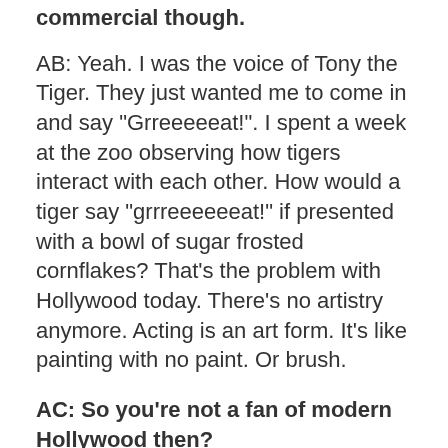commercial though.
AB: Yeah. I was the voice of Tony the Tiger. They just wanted me to come in and say "Grreeeeeat!". I spent a week at the zoo observing how tigers interact with each other. How would a tiger say "grrreeeeeeat!" if presented with a bowl of sugar frosted cornflakes? That's the problem with Hollywood today. There's no artistry anymore. Acting is an art form. It's like painting with no paint. Or brush.
AC: So you're not a fan of modern Hollywood then?
AB: What was that film? Entrapment? People said that it was ridiculous that Sean Connery ended up with Catherine Zeta Jones in it. For me